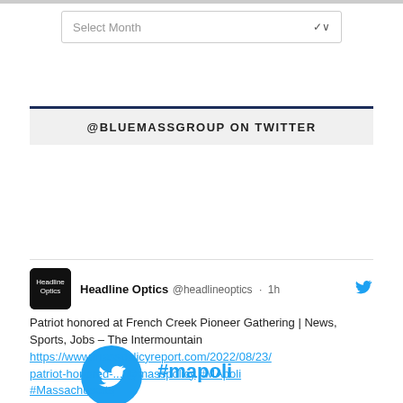[Figure (screenshot): Select Month dropdown box with chevron arrow]
@BLUEMASSGROUP ON TWITTER
[Figure (logo): Twitter bird icon in blue circle next to #mapoli hashtag]
Headline Optics @headlineoptics · 1h
Patriot honored at French Creek Pioneer Gathering | News, Sports, Jobs – The Intermountain https://www.masspolicyreport.com/2022/08/23/patriot-honored-... @masspolicy #MApoli #Massachusetts